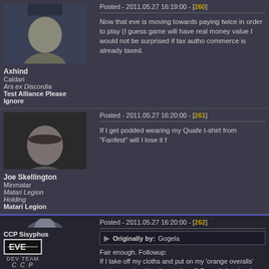Posted - 2011.05.27 16:19:00 - [260]
Axhind
Caldari
Ars ex Discordia
Test Alliance Please Ignore
Now that eve is moving towards paying twice in order to play (I guess game will have real money value I would not be surprised if tax autho commerce is already taxed.
Posted - 2011.05.27 16:20:00 - [261]
Joe Skellington
Minmatar
Matari Legion
Holding
Matari Legion
If I get podded wearing my Quafe t-shirt from "Fanfest" will I lose it f
Posted - 2011.05.27 16:20:00 - [262]
CCP Sisyphus
DEV TEAM
CCP
Originally by: Gogela
Fair enough. Followup:
If I take off my cloths and put on my 'orange overalls' and get pod waiting for me there? Essentially what I'm asking is do the cloths purchased them? (sorry not sure if I'm making sense here...)